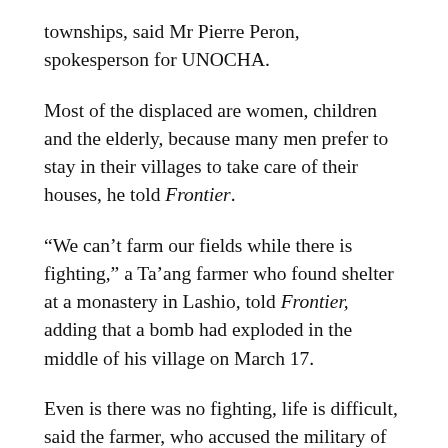townships, said Mr Pierre Peron, spokesperson for UNOCHA.
Most of the displaced are women, children and the elderly, because many men prefer to stay in their villages to take care of their houses, he told Frontier.
“We can’t farm our fields while there is fighting,” a Ta’ang farmer who found shelter at a monastery in Lashio, told Frontier, adding that a bomb had exploded in the middle of his village on March 17.
Even is there was no fighting, life is difficult, said the farmer, who accused the military of stealing livestock and looting people’s homes. Three people who had been detained by the Tatmadaw had